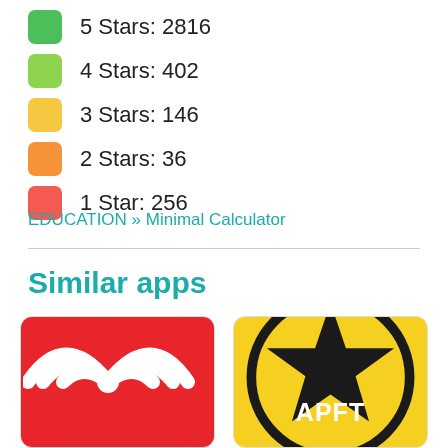5 Stars: 2816
4 Stars: 402
3 Stars: 146
2 Stars: 36
1 Star: 256
EDUCATION » Minimal Calculator
Similar apps
[Figure (illustration): Red circle icon with white WiFi/radio wave symbol]
[Figure (illustration): Yellow rounded square icon with black military star and APFT text]